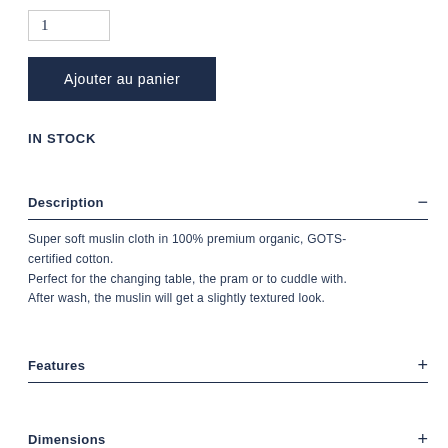1
Ajouter au panier
IN STOCK
Description
Super soft muslin cloth in 100% premium organic, GOTS-certified cotton.
Perfect for the changing table, the pram or to cuddle with.
After wash, the muslin will get a slightly textured look.
Features
Dimensions